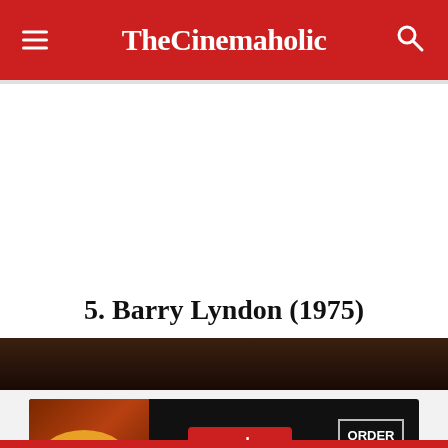TheCinemaholic
5. Barry Lyndon (1975)
[Figure (screenshot): Dark brownish movie still image strip showing a scene from Barry Lyndon (1975). A circular close button with an X is overlaid at the top right.]
[Figure (photo): Seamless food delivery advertisement banner showing pizza on the left, a red Seamless logo badge in the center, and an 'ORDER NOW' button on a dark background.]